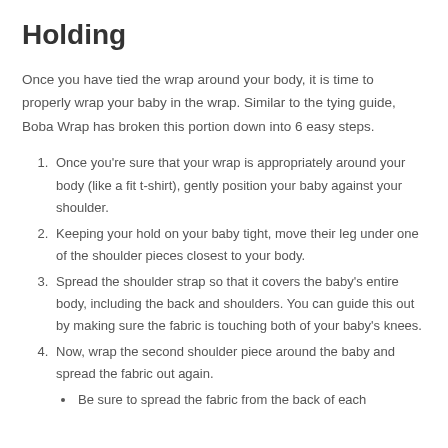Holding
Once you have tied the wrap around your body, it is time to properly wrap your baby in the wrap. Similar to the tying guide, Boba Wrap has broken this portion down into 6 easy steps.
Once you're sure that your wrap is appropriately around your body (like a fit t-shirt), gently position your baby against your shoulder.
Keeping your hold on your baby tight, move their leg under one of the shoulder pieces closest to your body.
Spread the shoulder strap so that it covers the baby's entire body, including the back and shoulders. You can guide this out by making sure the fabric is touching both of your baby's knees.
Now, wrap the second shoulder piece around the baby and spread the fabric out again.
Be sure to spread the fabric from the back of each